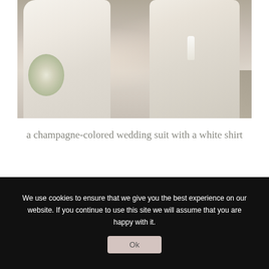[Figure (photo): A wedding couple walking together — bride in a flowing white/cream dress holding a white bouquet and groom in a champagne-colored suit holding a champagne glass, photographed from the waist down outdoors.]
a champagne-colored wedding suit with a white shirt
[Figure (photo): A person photographed from behind, head visible, against a light sky background.]
We use cookies to ensure that we give you the best experience on our website. If you continue to use this site we will assume that you are happy with it.
Ok